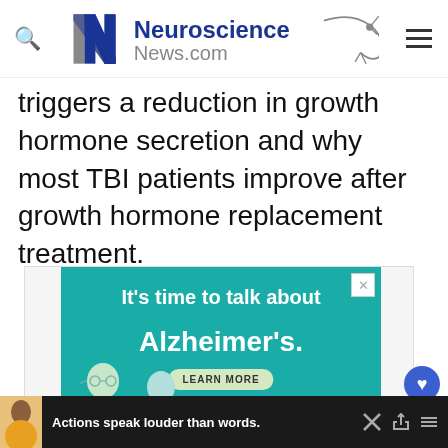Neuroscience News.com
triggers a reduction in growth hormone secretion and why most TBI patients improve after growth hormone replacement treatment.
[Figure (other): Advertisement banner: teal background with text 'It's time to talk about Alzheimer's.' and 'LEARN MORE' button, alz.org/ourstories, with illustrated cartoon figures of elderly people at the bottom left.]
[Figure (other): Bottom advertisement bar on dark background: 'Actions speak louder than words.' with a photo of a young man and close/share icons on the right.]